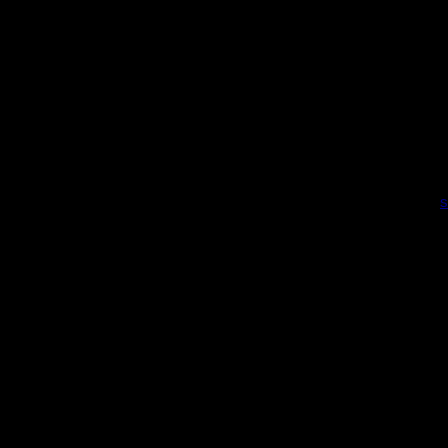someone to write an essay online
https://thequayhouse.com